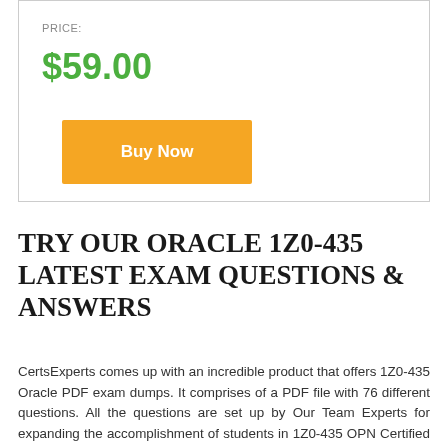PRICE:
$59.00
Buy Now
TRY OUR ORACLE 1Z0-435 LATEST EXAM QUESTIONS & ANSWERS
CertsExperts comes up with an incredible product that offers 1Z0-435 Oracle PDF exam dumps. It comprises of a PDF file with 76 different questions. All the questions are set up by Our Team Experts for expanding the accomplishment of students in 1Z0-435 OPN Certified Specialist Certifications certification exam dumps. The file is prepared